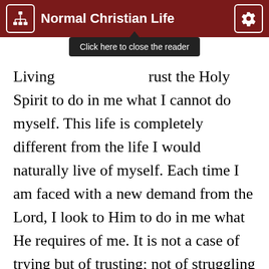Normal Christian Life
Living... rust the Holy Spirit to do in me what I cannot do myself. This life is completely different from the life I would naturally live of myself. Each time I am faced with a new demand from the Lord, I look to Him to do in me what He requires of me. It is not a case of trying but of trusting; not of struggling but of resting in Him. If I have a hasty temper, impure thoughts, a quick tongue or a critical spirit, I shall not set out with a determined effort to change myself, but, reckoning myself dead in Christ to these things, I shall look to the Spirit of God to produce in me the needed purity or humility or meekness. This is what